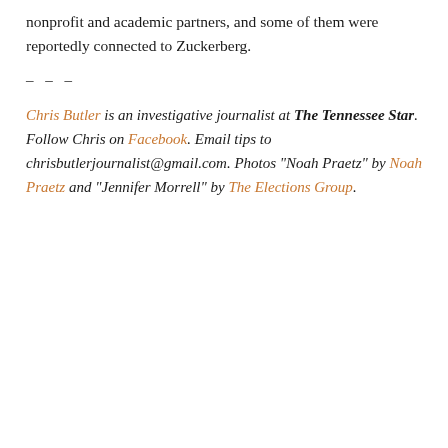nonprofit and academic partners, and some of them were reportedly connected to Zuckerberg.
– – –
Chris Butler is an investigative journalist at The Tennessee Star. Follow Chris on Facebook. Email tips to chrisbutlerjournalist@gmail.com. Photos "Noah Praetz" by Noah Praetz and "Jennifer Morrell" by The Elections Group.